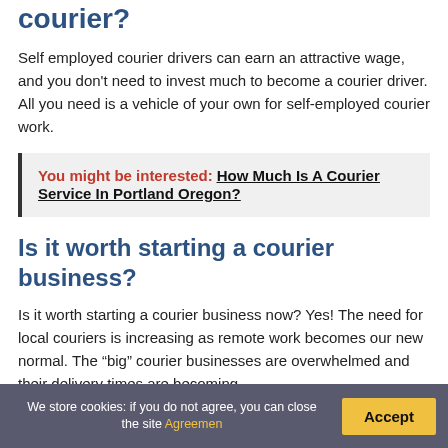courier?
Self employed courier drivers can earn an attractive wage, and you don't need to invest much to become a courier driver. All you need is a vehicle of your own for self-employed courier work.
You might be interested: How Much Is A Courier Service In Portland Oregon?
Is it worth starting a courier business?
Is it worth starting a courier business now? Yes! The need for local couriers is increasing as remote work becomes our new normal. The “big” courier businesses are overwhelmed and their delivery times are becoming
We store cookies: if you do not agree, you can close the site Agreemen